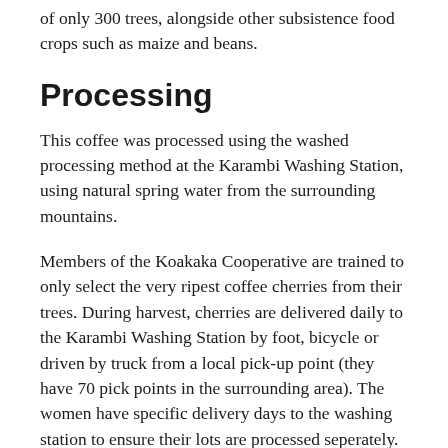of only 300 trees, alongside other subsistence food crops such as maize and beans.
Processing
This coffee was processed using the washed processing method at the Karambi Washing Station, using natural spring water from the surrounding mountains.
Members of the Koakaka Cooperative are trained to only select the very ripest coffee cherries from their trees. During harvest, cherries are delivered daily to the Karambi Washing Station by foot, bicycle or driven by truck from a local pick-up point (they have 70 pick points in the surrounding area). The women have specific delivery days to the washing station to ensure their lots are processed seperately.
On delivery, the cherries are picked and sorted to